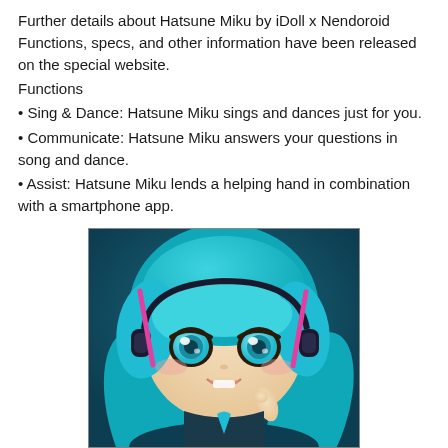Further details about Hatsune Miku by iDoll x Nendoroid Functions, specs, and other information have been released on the special website.
Functions
Sing & Dance: Hatsune Miku sings and dances just for you.
Communicate: Hatsune Miku answers your questions in song and dance.
Assist: Hatsune Miku lends a helping hand in combination with a smartphone app.
[Figure (photo): Close-up photo of a Hatsune Miku Nendoroid figure with teal twin-tail hair, large cyan eyes, and one finger raised, wearing a Vocaloid outfit with headphones.]